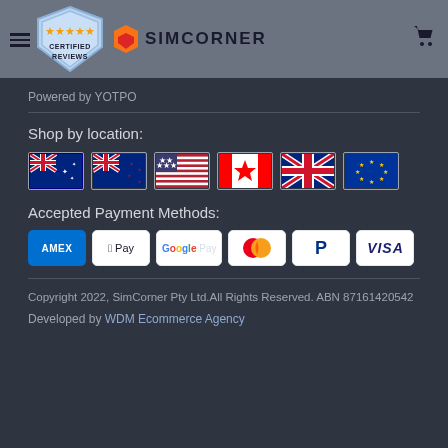SIMCORNER — Certified Reviews header with navigation and cart
Powered by YOTPO
Shop by location:
[Figure (illustration): Six country/region flag icons: Australia, New Zealand, USA, Canada, UK, EU]
Accepted Payment Methods:
[Figure (illustration): Payment method logos: AMEX, Apple Pay, Google Pay, Mastercard, PayPal, Visa]
Copyright 2022, SimCorner Pty Ltd.All Rights Reserved. ABN 87161420542
Developed by WDM Ecommerce Agency